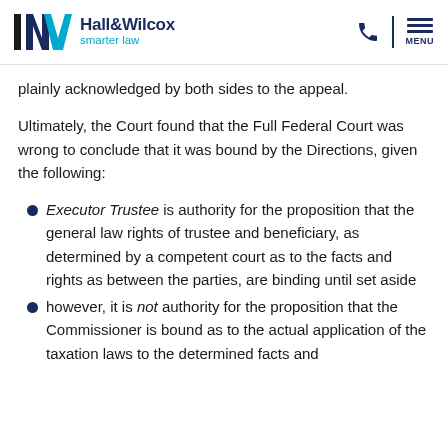Hall&Wilcox smarter law
plainly acknowledged by both sides to the appeal.
Ultimately, the Court found that the Full Federal Court was wrong to conclude that it was bound by the Directions, given the following:
Executor Trustee is authority for the proposition that the general law rights of trustee and beneficiary, as determined by a competent court as to the facts and rights as between the parties, are binding until set aside
however, it is not authority for the proposition that the Commissioner is bound as to the actual application of the taxation laws to the determined facts and